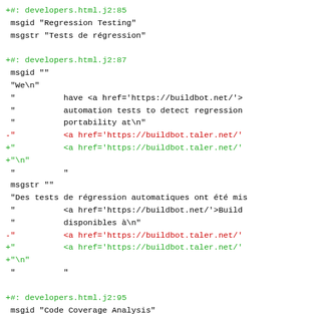+#: developers.html.j2:85
 msgid "Regression Testing"
 msgstr "Tests de régression"

+#: developers.html.j2:87
 msgid ""
 "We\n"
 "          have <a href='https://buildbot.net/'>
 "          automation tests to detect regression
 "          portability at\n"
-"          <a href='https://buildbot.taler.net/'
+"          <a href='https://buildbot.taler.net/'
+"\n"
 "          "
 msgstr ""
 "Des tests de régression automatiques ont été mis
 "          <a href='https://buildbot.net/'>Build
 "          disponibles à\n"
-"          <a href='https://buildbot.taler.net/'
+"          <a href='https://buildbot.taler.net/'
+"\n"
 "          "

+#: developers.html.j2:95
 msgid "Code Coverage Analysis"
 msgstr "Mesure de couverture du code"

+#: developers.html.j2:97
 msgid ""
 "We\n"